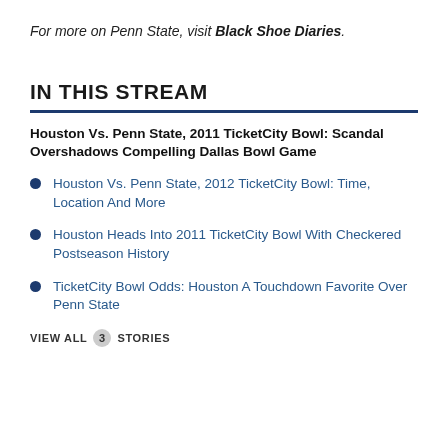For more on Penn State, visit Black Shoe Diaries.
IN THIS STREAM
Houston Vs. Penn State, 2011 TicketCity Bowl: Scandal Overshadows Compelling Dallas Bowl Game
Houston Vs. Penn State, 2012 TicketCity Bowl: Time, Location And More
Houston Heads Into 2011 TicketCity Bowl With Checkered Postseason History
TicketCity Bowl Odds: Houston A Touchdown Favorite Over Penn State
VIEW ALL 3 STORIES